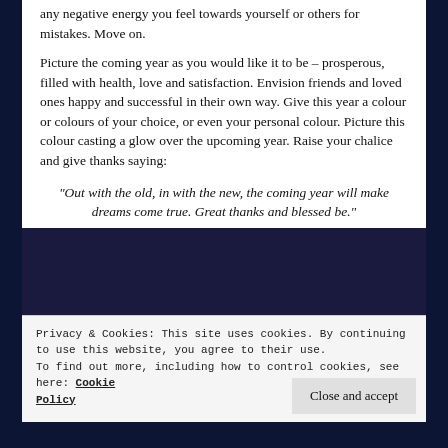any negative energy you feel towards yourself or others for mistakes. Move on.
Picture the coming year as you would like it to be – prosperous, filled with health, love and satisfaction. Envision friends and loved ones happy and successful in their own way. Give this year a colour or colours of your choice, or even your personal colour. Picture this colour casting a glow over the upcoming year. Raise your chalice and give thanks saying:
“Out with the old, in with the new, the coming year will make dreams come true. Great thanks and blessed be.”
Privacy & Cookies: This site uses cookies. By continuing to use this website, you agree to their use.
To find out more, including how to control cookies, see here: Cookie Policy